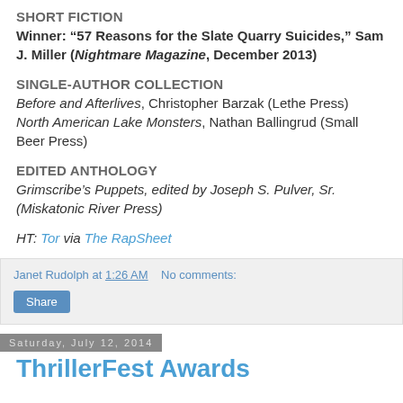SHORT FICTION
Winner: “57 Reasons for the Slate Quarry Suicides,” Sam J. Miller (Nightmare Magazine, December 2013)
SINGLE-AUTHOR COLLECTION
Before and Afterlives, Christopher Barzak (Lethe Press)
North American Lake Monsters, Nathan Ballingrud (Small Beer Press)
EDITED ANTHOLOGY
Grimscribe’s Puppets, edited by Joseph S. Pulver, Sr. (Miskatonic River Press)
HT: Tor via The RapSheet
Janet Rudolph at 1:26 AM   No comments:
Share
Saturday, July 12, 2014
ThrillerFest Awards